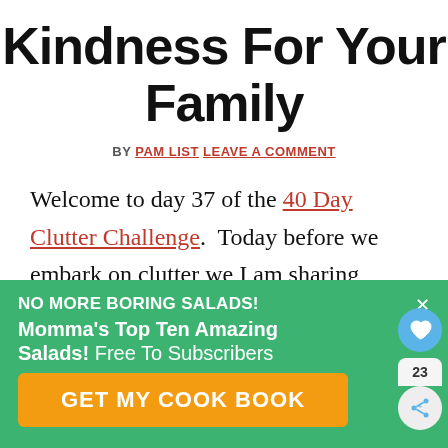Kindness For Your Family
BY PAM LIST LEAVE A COMMENT
Welcome to day 37 of the 40 Day Clutter Challenge. Today before we embark on clutter we I am sharing about kindness. Children learn kindness at home. If we start early and
[Figure (other): Green promotional ad banner overlay at bottom of page. Text reads: NO MORE BORING SALADS! Momma's Top Ten Amazing Salads! Free To Subscribers. Button: GET MY COOK BOOK. Social share icons on right side with heart icon and share icon with count 23.]